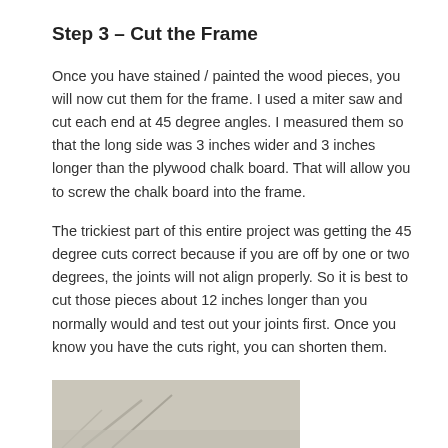Step 3 – Cut the Frame
Once you have stained / painted the wood pieces, you will now cut them for the frame. I used a miter saw and cut each end at 45 degree angles. I measured them so that the long side was 3 inches wider and 3 inches longer than the plywood chalk board. That will allow you to screw the chalk board into the frame.
The trickiest part of this entire project was getting the 45 degree cuts correct because if you are off by one or two degrees, the joints will not align properly. So it is best to cut those pieces about 12 inches longer than you normally would and test out your joints first. Once you know you have the cuts right, you can shorten them.
[Figure (photo): Partial photo visible at the bottom of the page, showing what appears to be wood pieces or a chalkboard frame in muted beige/grey tones]